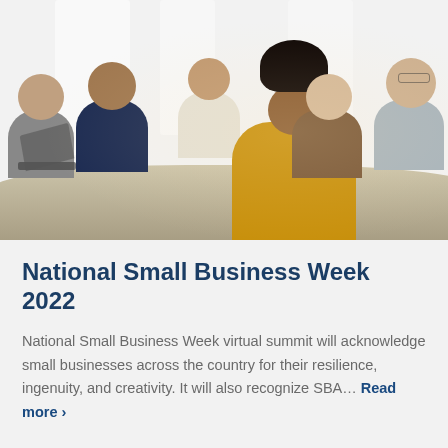[Figure (photo): A group of diverse business professionals sitting around a conference table, smiling. A young Black woman in a yellow/mustard top is prominently in the foreground, with other colleagues visible behind her. The setting appears to be a bright, modern office meeting room.]
National Small Business Week 2022
National Small Business Week virtual summit will acknowledge small businesses across the country for their resilience, ingenuity, and creativity. It will also recognize SBA… Read more ›